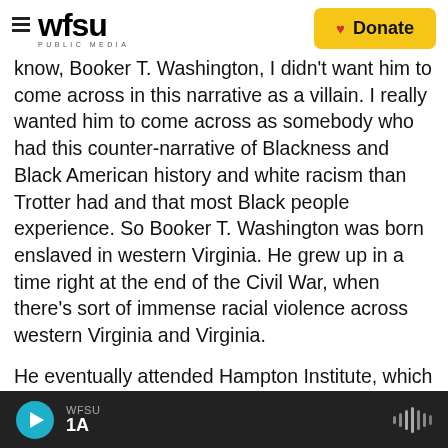wfsu PUBLIC MEDIA | Donate
know, Booker T. Washington, I didn't want him to come across in this narrative as a villain. I really wanted him to come across as somebody who had this counter-narrative of Blackness and Black American history and white racism than Trotter had and that most Black people experience. So Booker T. Washington was born enslaved in western Virginia. He grew up in a time right at the end of the Civil War, when there's sort of immense racial violence across western Virginia and Virginia.
He eventually attended Hampton Institute, which was one of the schools founded in the aftermath of the Civil War, where Reconstruction is basically all
WFSU | 1A